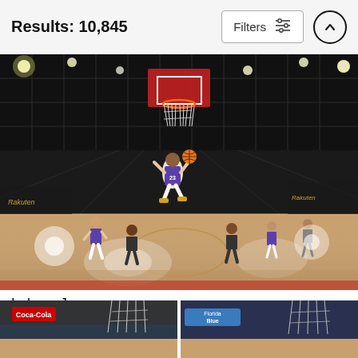Results: 10,845  Filters
[Figure (photo): Basketball game photo showing LeBron James (number 23) mid-air going for a dunk in a dark arena with other players on the court]
Lebron James
Andrew D. Bernstein
$9.62
[Figure (photo): Partial thumbnail of basketball game, left side, Coca-Cola signage visible]
[Figure (photo): Partial thumbnail of basketball game, right side, Florida Blue signage visible]